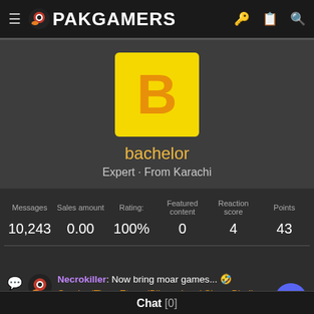PAKGAMERS
[Figure (screenshot): User profile avatar: yellow square with orange letter B]
bachelor
Expert · From Karachi
| Messages | Sales amount | Rating: | Featured content | Reaction score | Points |
| --- | --- | --- | --- | --- | --- |
| 10,243 | 0.00 | 100% | 0 | 4 | 43 |
Necrokiller: Now bring moar games... 🤣 CerebralTiger, EternalBlizzard and Shary Bhallu TC Yesterday at 8:58 PM
Chat [0]